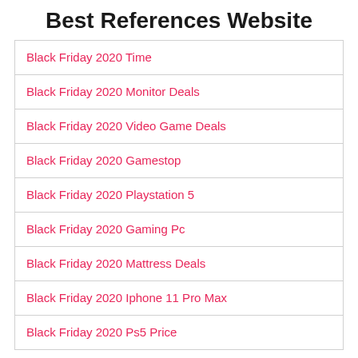Best References Website
Black Friday 2020 Time
Black Friday 2020 Monitor Deals
Black Friday 2020 Video Game Deals
Black Friday 2020 Gamestop
Black Friday 2020 Playstation 5
Black Friday 2020 Gaming Pc
Black Friday 2020 Mattress Deals
Black Friday 2020 Iphone 11 Pro Max
Black Friday 2020 Ps5 Price